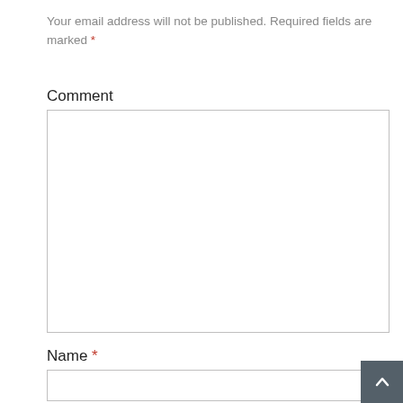Your email address will not be published. Required fields are marked *
Comment
[Figure (other): Empty comment textarea input box]
Name *
[Figure (other): Empty name text input box]
Email *
[Figure (other): Empty email text input box (partially visible)]
[Figure (other): Scroll-to-top button with upward chevron arrow, dark gray background, bottom-right corner]